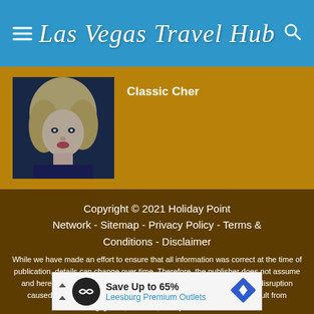Las Vegas Travel Hub
Classic Cher
[Figure (photo): Photo of Cher with blonde curly hair]
Copyright © 2021 Holiday Point Network - Sitemap - Privacy Policy - Terms & Conditions - Disclaimer
While we have made an effort to ensure that all information was correct at the time of publication, details can change over time. Therefore, the publisher does not assume and hereby disclaim any liability to any party for any loss, damage, or disruption caused by errors or omissions, whether such errors or omissions result from negligence, accident, or any other cause.
[Figure (infographic): Advertisement banner: Save Up to 65% Leesburg Premium Outlets]